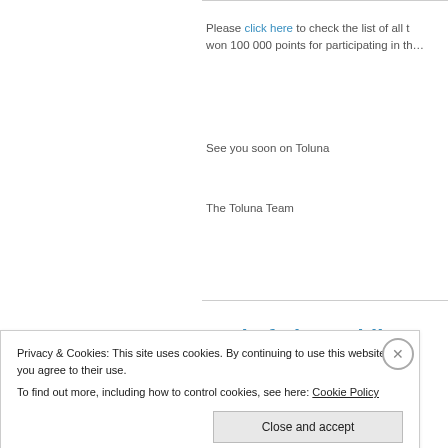Please click here to check the list of all t… won 100 000 points for participating in th…
See you soon on Toluna
The Toluna Team
May 18, 2017
End of The Mobile Bonus
Privacy & Cookies: This site uses cookies. By continuing to use this website, you agree to their use.
To find out more, including how to control cookies, see here: Cookie Policy
Close and accept